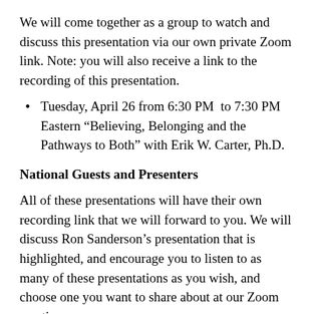We will come together as a group to watch and discuss this presentation via our own private Zoom link. Note: you will also receive a link to the recording of this presentation.
Tuesday, April 26 from 6:30 PM to 7:30 PM Eastern “Believing, Belonging and the Pathways to Both” with Erik W. Carter, Ph.D.
National Guests and Presenters
All of these presentations will have their own recording link that we will forward to you. We will discuss Ron Sanderson’s presentation that is highlighted, and encourage you to listen to as many of these presentations as you wish, and choose one you want to share about at our Zoom meeting on